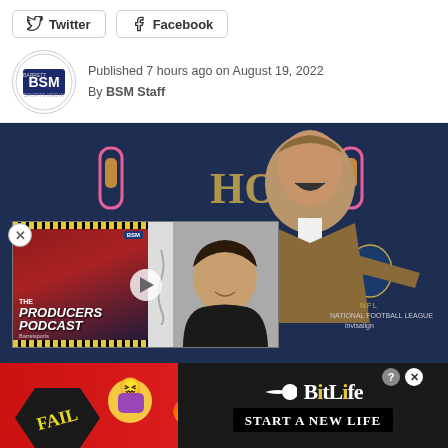Twitter  Facebook
Published 7 hours ago on August 19, 2022
By BSM Staff
[Figure (photo): Man in brown suit at NFL Honors event, laughing and pointing, with overlay video player showing 'The Producers Podcast' logo]
[Figure (other): BitLife advertisement banner: FAIL emoji graphic, fire emoji, BitLife logo, text 'START A NEW LIFE']